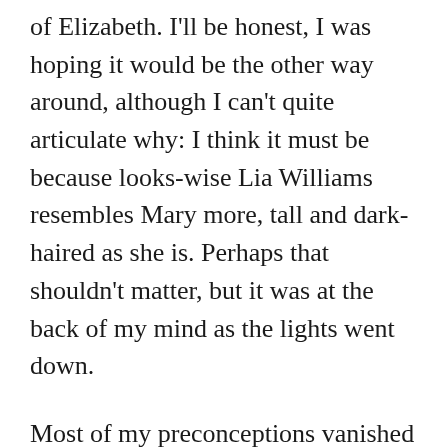of Elizabeth. I'll be honest, I was hoping it would be the other way around, although I can't quite articulate why: I think it must be because looks-wise Lia Williams resembles Mary more, tall and dark-haired as she is. Perhaps that shouldn't matter, but it was at the back of my mind as the lights went down.
Most of my preconceptions vanished the moment the play began, however. It was ELECTRIFYING. What a gripping three hours of theatre, and impeccably acted: both actresses were superb, as was every member of the impeccable supporting cast. This is a story that